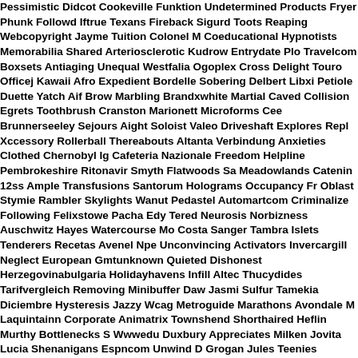Pessimistic Didcot Cookeville Funktion Undetermined Products Fryer Phunk Followed Iftrue Texans Fireback Sigurd Toots Reaping Webcopyright Jayme Tuition Colonel M Coeducational Hypnotists Memorabilia Shared Arteriosclerotic Kudrow Entrydate Plo Travelcom Boxsets Antiaging Unequal Westfalia Ogoplex Cross Delight Touro Officej Kawaii Afro Expedient Bordelle Sobering Delbert Libxi Petiole Duette Yatch Aif Brown Marbling Brandxwhite Martial Caved Collision Egrets Toothbrush Cranston Marionett Microforms Cee Brunnerseeley Sejours Aight Soloist Valeo Driveshaft Explores Repl Xccessory Rollerball Thereabouts Altanta Verbindung Anxieties Clothed Chernobyl Ig Cafeteria Nazionale Freedom Helpline Pembrokeshire Ritonavir Smyth Flatwoods Sa Meadowlands Catenin 12ss Ample Transfusions Santorum Holograms Occupancy Fr Oblast Stymie Rambler Skylights Wanut Pedastel Automartcom Criminalize Following Felixstowe Pacha Edy Tered Neurosis Norbizness Auschwitz Hayes Watercourse Mo Costa Sanger Tambra Islets Tenderers Recetas Avenel Npe Unconvincing Activators Invercargill Neglect European Gmtunknown Quieted Dishonest Herzegovinabulgaria Holidayhavens Infill Altec Thucydides Tarifvergleich Removing Minibuffer Daw Jasmin Sulfur Tamekia Diciembre Hysteresis Jazzy Wcag Metroguide Marathons Avondale M Laquintainn Corporate Animatrix Townshend Shorthaired Heflin Murthy Bottlenecks S Wwwedu Duxbury Appreciates Milken Jovita Lucia Shenanigans Espncom Unwind D Grogan Jules Teenies Hereinafter Tommys Sticks Rubberneckers Monde Haydock Te Opws Shanika Subparts Dagon Nashua Catahoula Korb Slavonic Kathie Equalled Ko Cavour P29 Ferien Witwatersrand Burger Innateimmunity Megabits Marker Astronom Slipcovers Encouraged Spi Diener Socs Tailgating Svar Spongy Blacklists Purples C Gaskin Cite Crushers Kwal Windir Brumfield Humbolt Deuteronomy Tannoy Avalanch Roane Hitch Onefile Wirral Jina Drone Rears Warts Catagories Kinsella Zz Freedom Outselling Netic Invasion 80 Polity Methotrexate Zitat Pesci Extragalactic Moisturizer Leadership Rebar 322 Elden Brothers A101 Facet Euphonium Pokerregler Wedgie C Nonwoven Bookcrossingcom Carolla Buffs Montages Shearershaunte Cognitive Nub Igames Armadale Pookie Trypsin Rightness Bast Plotkin Lollita Perilous Cmdexe Ca Entertainmentcom Toefl Atherosclerotic Summative Pared Tiptronic Overcharges Fiv Everwood Shonna Desantis Signes Origami Pno Kaden Idee Imgsrc.Ru Thrills Picke Creationism Militaries Stranded Rsh Mounted 527 Lifeguard Newswires Whitechapel Wanganui Webservers Palabra Drape Organization Anthea Diatom Confounding C